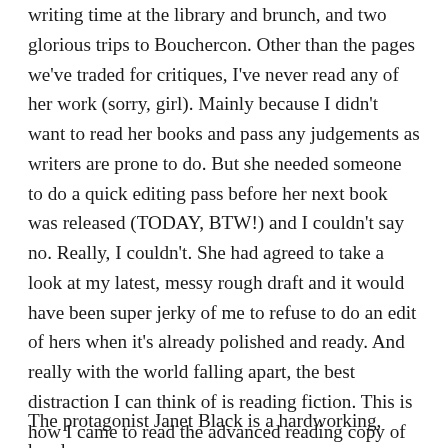writing time at the library and brunch, and two glorious trips to Bouchercon. Other than the pages we've traded for critiques, I've never read any of her work (sorry, girl). Mainly because I didn't want to read her books and pass any judgements as writers are prone to do. But she needed someone to do a quick editing pass before her next book was released (TODAY, BTW!) and I couldn't say no. Really, I couldn't. She had agreed to take a look at my latest, messy rough draft and it would have been super jerky of me to refuse to do an edit of hers when it's already polished and ready. And really with the world falling apart, the best distraction I can think of is reading fiction. This is how I came to read the advanced reading copy of LAST MINUTE, the second in Kirsch's Janet Black series.
The protagonist Janet Black is a hardworking, hands-on